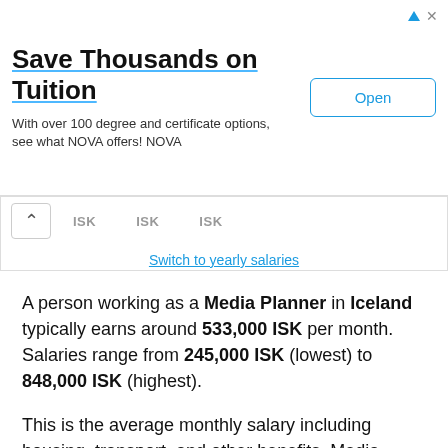[Figure (other): Advertisement banner for NOVA with title 'Save Thousands on Tuition', subtitle text, and an Open button]
ISK   ISK   ISK
Switch to yearly salaries
A person working as a Media Planner in Iceland typically earns around 533,000 ISK per month. Salaries range from 245,000 ISK (lowest) to 848,000 ISK (highest).
This is the average monthly salary including housing, transport, and other benefits. Media Planner salaries vary drastically based on experience, skills, gender, or location. Below you will find a detailed breakdown based on many different criteria.